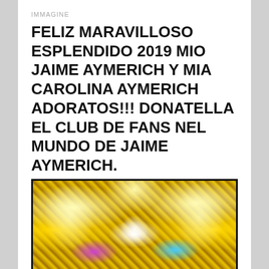IMMAGINE
FELIZ MARAVILLOSO ESPLENDIDO 2019 MIO JAIME AYMERICH Y MIA CAROLINA AYMERICH ADORATOS!!! DONATELLA EL CLUB DE FANS NEL MUNDO DE JAIME AYMERICH.
[Figure (photo): Festive celebratory image with golden sparkles, star bursts, confetti and colorful lights against a gold background]